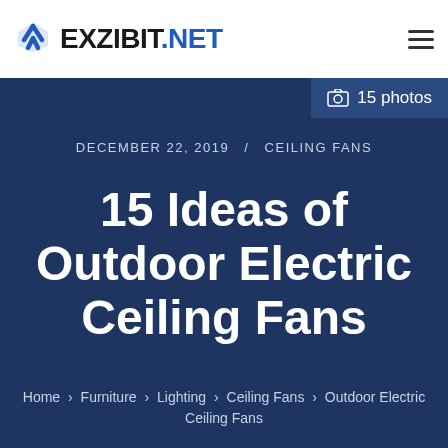EXZIBIT.NET
15 photos
DECEMBER 22, 2019 / CEILING FANS
15 Ideas of Outdoor Electric Ceiling Fans
Home › Furniture › Lighting › Ceiling Fans › Outdoor Electric Ceiling Fans